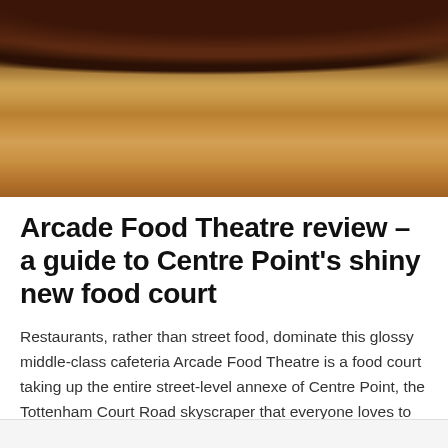[Figure (photo): Close-up photo of a sandwich or burger with toasted bread, meat filling, sprouts/microgreens, and onion rings on top]
Arcade Food Theatre review – a guide to Centre Point's shiny new food court
Restaurants, rather than street food, dominate this glossy middle-class cafeteria Arcade Food Theatre is a food court taking up the entire street-level annexe of Centre Point, the Tottenham Court Road skyscraper that everyone loves to hate. Even more unusually for a London food court, Arcade Food … Continue reading →